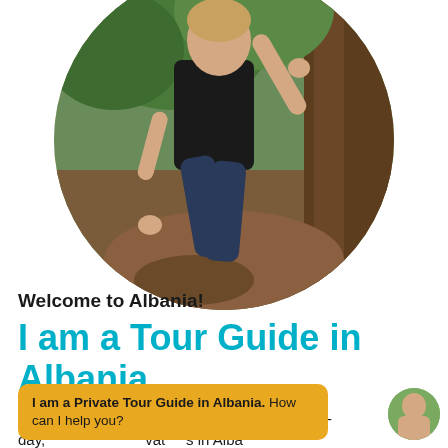[Figure (photo): Circular profile photo of a person crouching near a large tree trunk in a forest/outdoor setting, wearing a black tank top and dark jeans]
Welcome to Albania!
I am a Tour Guide in Albania
I am an Albania Tour Guide, who organizes 1-day, ... private ... in Albania.
I am a Private Tour Guide in Albania. How can I help you?